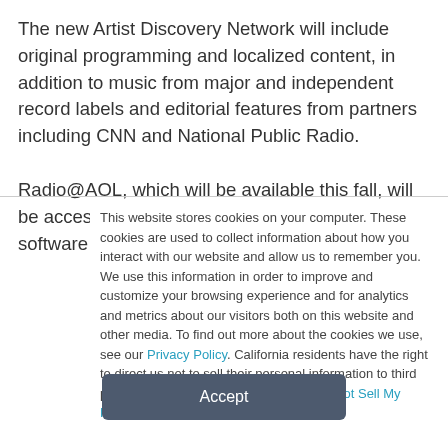The new Artist Discovery Network will include original programming and localized content, in addition to music from major and independent record labels and editorial features from partners including CNN and National Public Radio.

Radio@AOL, which will be available this fall, will be accessible from the toolbar on AOL's next software version, AOL 7.0. It
This website stores cookies on your computer. These cookies are used to collect information about how you interact with our website and allow us to remember you. We use this information in order to improve and customize your browsing experience and for analytics and metrics about our visitors both on this website and other media. To find out more about the cookies we use, see our Privacy Policy. California residents have the right to direct us not to sell their personal information to third parties by filing an Opt-Out Request: Do Not Sell My Personal Info.